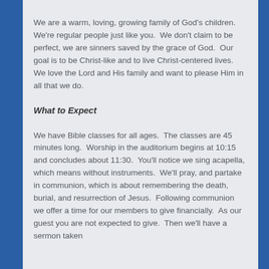We are a warm, loving, growing family of God's children. We're regular people just like you. We don't claim to be perfect, we are sinners saved by the grace of God. Our goal is to be Christ-like and to live Christ-centered lives. We love the Lord and His family and want to please Him in all that we do.
What to Expect
We have Bible classes for all ages. The classes are 45 minutes long. Worship in the auditorium begins at 10:15 and concludes about 11:30. You'll notice we sing acapella, which means without instruments. We'll pray, and partake in communion, which is about remembering the death, burial, and resurrection of Jesus. Following communion we offer a time for our members to give financially. As our guest you are not expected to give. Then we'll have a sermon taken